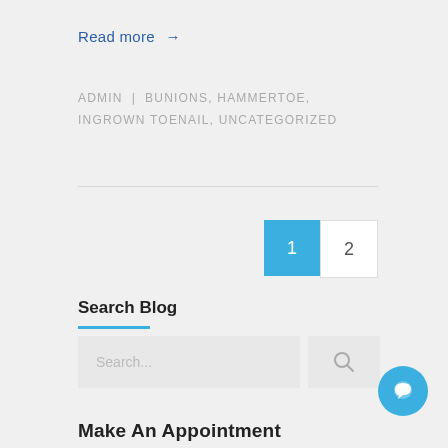Read more →
ADMIN | BUNIONS, HAMMERTOE, INGROWN TOENAIL, UNCATEGORIZED
1
2
Search Blog
Search...
Make An Appointment